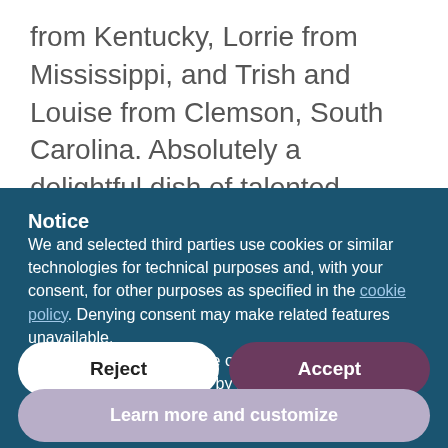from Kentucky, Lorrie from Mississippi, and Trish and Louise from Clemson, South Carolina. Absolutely a delightful dish of talented, funny,
Notice
We and selected third parties use cookies or similar technologies for technical purposes and, with your consent, for other purposes as specified in the cookie policy. Denying consent may make related features unavailable.
You can consent to the use of such technologies by using the "Accept" button, by interacting with any link or button outside of this notice or by continuing to browse otherwise.
Reject
Accept
Learn more and customize